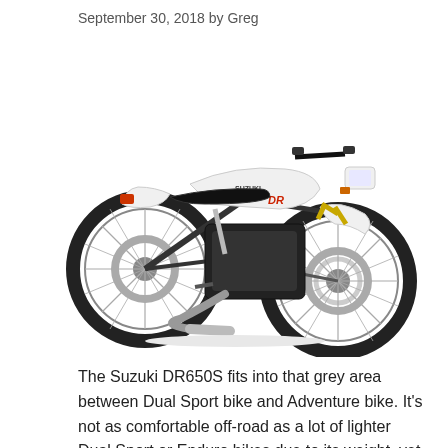September 30, 2018 by Greg
[Figure (photo): White Suzuki DR650S dual sport motorcycle shown in right-side profile view on a white background. The bike features knobby tires, spoke wheels, a white body with black seat and black engine, and Suzuki branding on the tank.]
The Suzuki DR650S fits into that grey area between Dual Sport bike and Adventure bike. It's not as comfortable off-road as a lot of lighter Dual Sport or Enduro bikes due to its weight, yet it's a lot